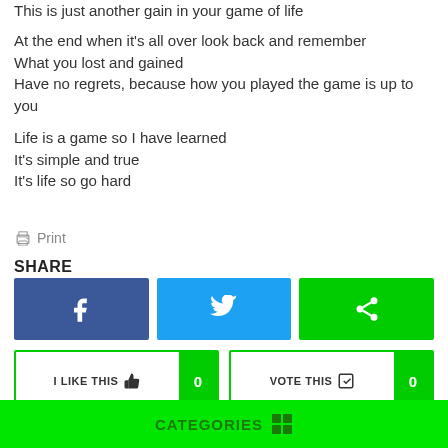This is just another gain in your game of life
At the end when it’s all over look back and remember
What you lost and gained
Have no regrets, because how you played the game is up to you
Life is a game so I have learned
It’s simple and true
It’s life so go hard
Print
SHARE
[Figure (other): Facebook share button (blue), Twitter share button (cyan), Share button (green)]
[Figure (other): I LIKE THIS button with count 0, VOTE THIS button with count 0]
CATEGORIES